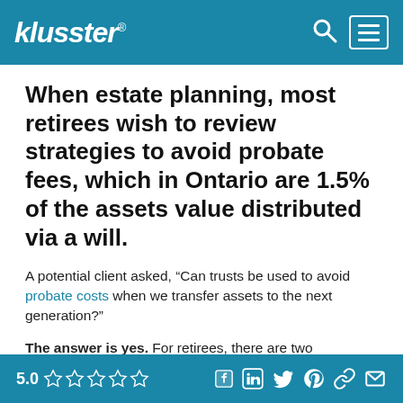klusster®
When estate planning, most retirees wish to review strategies to avoid probate fees, which in Ontario are 1.5% of the assets value distributed via a will.
A potential client asked, “Can trusts be used to avoid probate costs when we transfer assets to the next generation?”
The answer is yes. For retirees, there are two
5.0 ☆☆☆☆☆